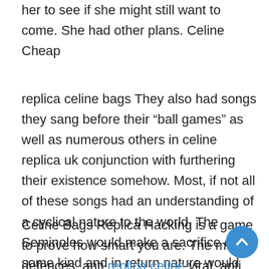her to see if she might still want to come. She had other plans. Celine Cheap
replica celine bags They also had songs they sang before their “ball games” as well as numerous others in celine replica uk conjunction with furthering their existence somehow. Most, if not all of these songs had an understanding of a cyclical nature to the world. The Seminoles would make a sacrifice of some kind and in return nature would be good to them. replica celine bags
Celine Bags Replica Hacking is a game to prove how smart you are. The more defences, anti replica celine viral, anti spyware and firewalls you can destroy the smarter you are. Also, it’s gladiator games